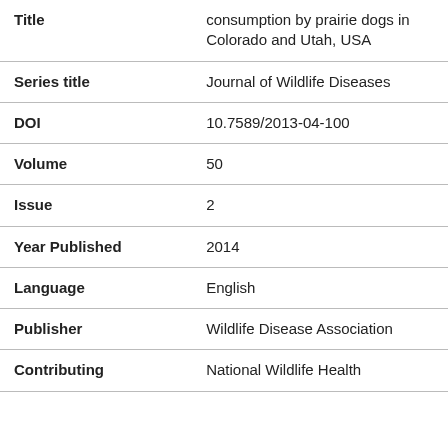| Field | Value |
| --- | --- |
| Title | consumption by prairie dogs in Colorado and Utah, USA |
| Series title | Journal of Wildlife Diseases |
| DOI | 10.7589/2013-04-100 |
| Volume | 50 |
| Issue | 2 |
| Year Published | 2014 |
| Language | English |
| Publisher | Wildlife Disease Association |
| Contributing | National Wildlife Health |